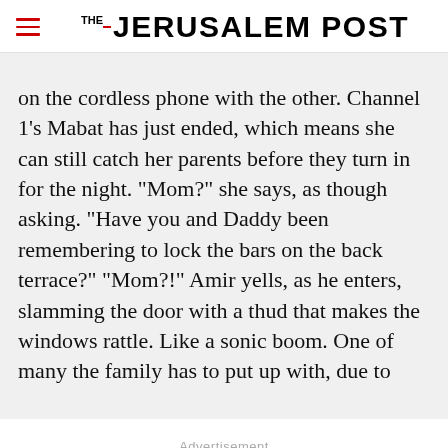THE JERUSALEM POST
on the cordless phone with the other. Channel 1's Mabat has just ended, which means she can still catch her parents before they turn in for the night. "Mom?" she says, as though asking. "Have you and Daddy been remembering to lock the bars on the back terrace?" "Mom?!" Amir yells, as he enters, slamming the door with a thud that makes the windows rattle. Like a sonic boom. One of many the family has to put up with, due to
Advertisement